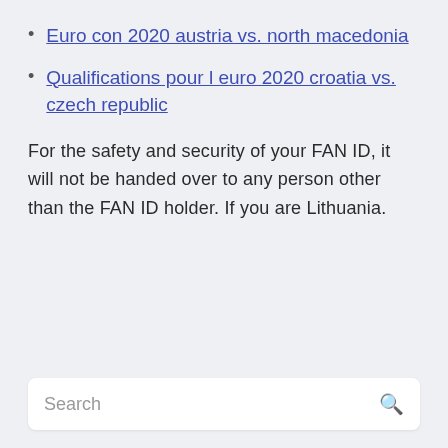Euro con 2020 austria vs. north macedonia
Qualifications pour l euro 2020 croatia vs. czech republic
For the safety and security of your FAN ID, it will not be handed over to any person other than the FAN ID holder. If you are Lithuania.